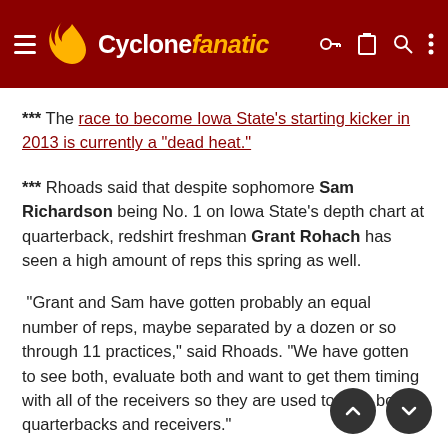Cyclone fanatic
*** The race to become Iowa State's starting kicker in 2013 is currently a “dead heat.”
*** Rhoads said that despite sophomore Sam Richardson being No. 1 on Iowa State’s depth chart at quarterback, redshirt freshman Grant Rohach has seen a high amount of reps this spring as well.
“Grant and Sam have gotten probably an equal number of reps, maybe separated by a dozen or so through 11 practices,” said Rhoads. “We have gotten to see both, evaluate both and want to get them timing with all of the receivers so they are used to that, both quarterbacks and receivers.”